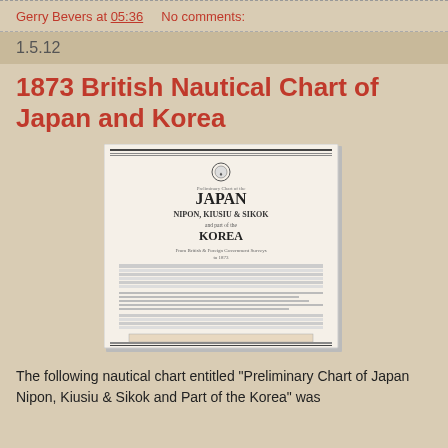Gerry Bevers at 05:36    No comments:
1.5.12
1873 British Nautical Chart of Japan and Korea
[Figure (photo): Scanned title page of a nautical chart titled 'JAPAN NIPON, KIUSIU & SIKOK and part of the KOREA', a preliminary chart from 1873, showing a table of contents/legend and various notations.]
The following nautical chart entitled "Preliminary Chart of Japan Nipon, Kiusiu & Sikok and Part of the Korea" was